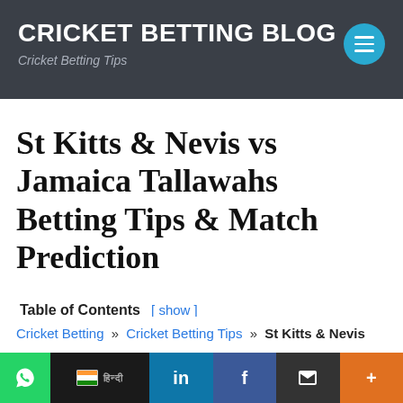CRICKET BETTING BLOG — Cricket Betting Tips
St Kitts & Nevis vs Jamaica Tallawahs Betting Tips & Match Prediction
Table of Contents [ show ]
Cricket Betting » Cricket Betting Tips » St Kitts & Nevis